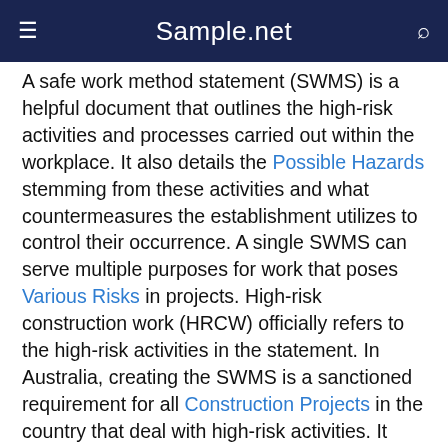Sample.net
A safe work method statement (SWMS) is a helpful document that outlines the high-risk activities and processes carried out within the workplace. It also details the Possible Hazards stemming from these activities and what countermeasures the establishment utilizes to control their occurrence. A single SWMS can serve multiple purposes for work that poses Various Risks in projects. High-risk construction work (HRCW) officially refers to the high-risk activities in the statement. In Australia, creating the SWMS is a sanctioned requirement for all Construction Projects in the country that deal with high-risk activities. It must also be available before any construction work begins. An SWMS undergoes continuous revisions and updating to incorporate additional activities of the project that are high-risk after the initial SWMS document. The SWMS is more than a procedure; it is a tool that helps supervisors and workers